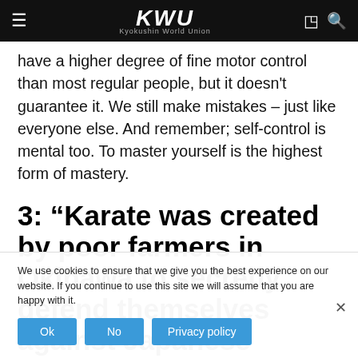KWU — Kyokushin World Union
have a higher degree of fine motor control than most regular people, but it doesn't guarantee it. We still make mistakes – just like everyone else. And remember; self-control is mental too. To master yourself is the highest form of mastery.
3: “Karate was created by poor farmers in Okinawa to secretly defend themselves against Japanese samurai warriors.” Wow.
Ask yourself this: If you were a poor farmer in ancient
We use cookies to ensure that we give you the best experience on our website. If you continue to use this site we will assume that you are happy with it.